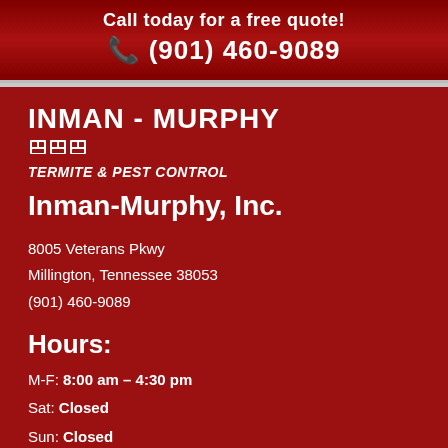Call today for a free quote! ☎ (901) 460-9089
[Figure (logo): Inman-Murphy Termite & Pest Control logo with company name in bold white text, small house/pest icon, and italic tagline]
Inman-Murphy, Inc.
8005 Veterans Pkwy
Millington, Tennessee 38053
(901) 460-9089
Hours:
M-F: 8:00 am – 4:30 pm
Sat: Closed
Sun: Closed
About Us